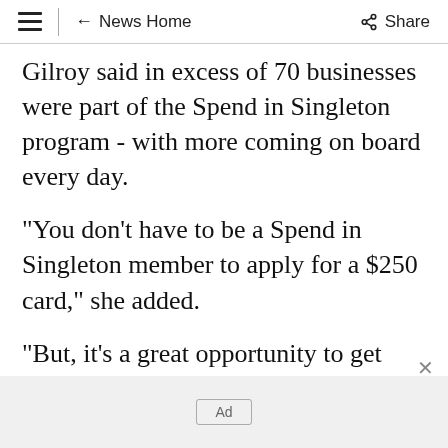≡  ← News Home  Share
Gilroy said in excess of 70 businesses were part of the Spend in Singleton program - with more coming on board every day.
"You don't have to be a Spend in Singleton member to apply for a $250 card," she added.
"But, it's a great opportunity to get involved in the program and benefit from the other businesses who will be spending their cards in the next three months.
[Figure (other): Advertisement placeholder box labeled 'Ad' on a light gray background]